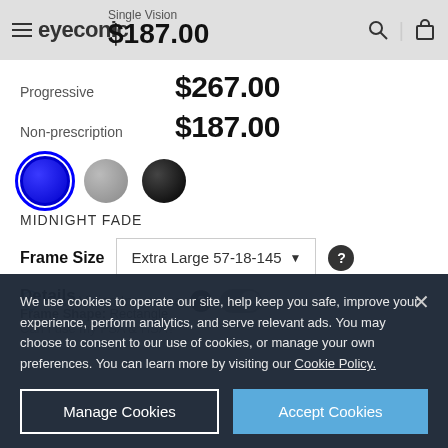eyeconic — Single Vision $187.00
Single Vision $187.00
Progressive $267.00
Non-prescription $187.00
[Figure (other): Three color swatches: blue (selected, with blue outline), gray, black]
MIDNIGHT FADE
Frame Size  Extra Large 57-18-145 ▼
Use Vision Insurance
Can I use my FSA & HSA?
Details
Frame Shape: Rectangle
We use cookies to operate our site, help keep you safe, improve your experience, perform analytics, and serve relevant ads. You may choose to consent to our use of cookies, or manage your own preferences. You can learn more by visiting our Cookie Policy.
Manage Cookies
Accept Cookies